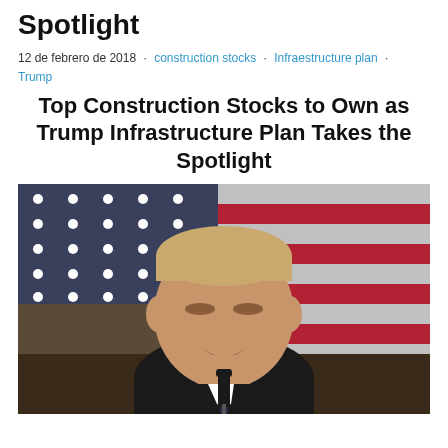Spotlight
12 de febrero de 2018 · construction stocks · Infraestructure plan · Trump
Top Construction Stocks to Own as Trump Infrastructure Plan Takes the Spotlight
[Figure (photo): Photo of Donald Trump speaking at a podium with a microphone in front of an American flag background]